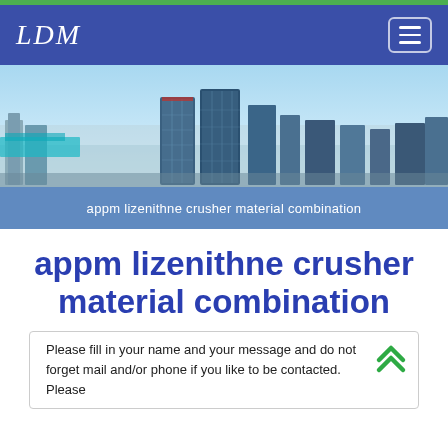LDM
[Figure (photo): Aerial/skyline view of industrial or commercial buildings with a clear blue sky, factory or office complex]
appm lizenithne crusher material combination
appm lizenithne crusher material combination
Please fill in your name and your message and do not forget mail and/or phone if you like to be contacted. Please